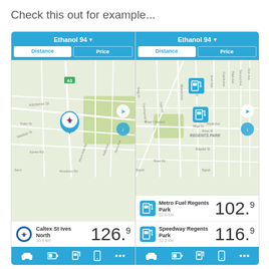Check this out for example...
[Figure (screenshot): Side-by-side mobile app screenshots showing fuel price finder app. Left panel: Ethanol 94 fuel type selected, Distance/Price tabs, map showing Caltex St Ives North station pin, price 126.9 cents, 10.9 km away. Right panel: Ethanol 94 fuel type selected, Distance/Price tabs, map showing Regents Park area with two fuel station pins, Metro Fuel Regents Park at 102.9 cents 32.0 km, Speedway Regents Park at 116.9 cents 32.2 km. Both panels have blue navigation bars at bottom with car, battery, fuel pump, phone, and more icons.]